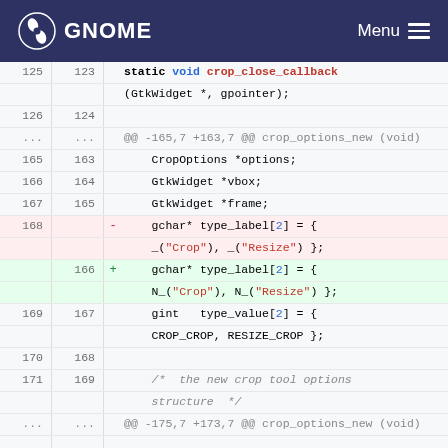GNOME  Menu
[Figure (screenshot): Code diff view showing changes to crop_close_callback and type_label array in a C source file. Deleted line uses _("Crop"), _("Resize") and added line uses N_("Crop"), N_("Resize").]